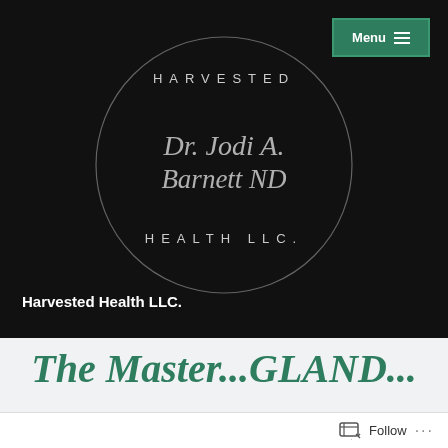[Figure (logo): Harvested Health LLC logo — circular outline with 'HARVESTED' at top, cursive signature 'Dr. Jodi A. Barnett ND' in center, 'HEALTH LLC.' at bottom, on black background. Menu button in top-right corner.]
Harvested Health LLC.
The Master...GLAND...